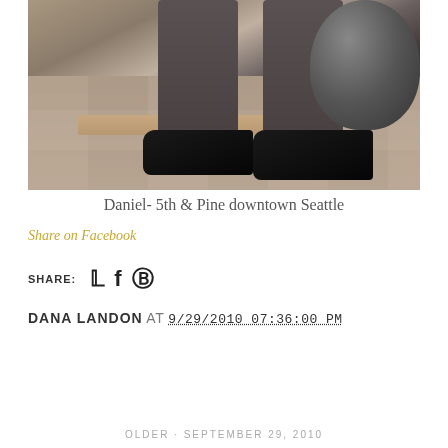[Figure (photo): Photo of a man's legs from the waist down, wearing grey/charcoal dress trousers and black patent leather Oxford shoes, standing on a tiled outdoor plaza. A large decorative stone urn/sphere is visible in the upper right. Location: 5th & Pine, downtown Seattle.]
Daniel- 5th & Pine downtown Seattle
Share on Facebook
SHARE:
DANA LANDON AT 9/29/2010 07:36:00 PM
OLDER SEPTEMBER 29, 2010